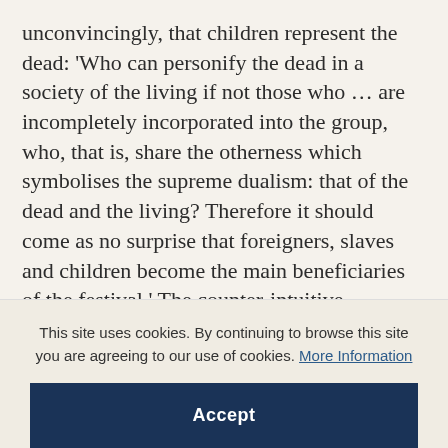unconvincingly, that children represent the dead: 'Who can personify the dead in a society of the living if not those who … are incompletely incorporated into the group, who, that is, share the otherness which symbolises the supreme dualism: that of the dead and the living? Therefore it should come as no surprise that foreigners, slaves and children become the main beneficiaries of the festival.' The counter-intuitive association of children (or Christmas) with death does, however, fit with some of the submerged themes
This site uses cookies. By continuing to browse this site you are agreeing to our use of cookies. More Information
Accept